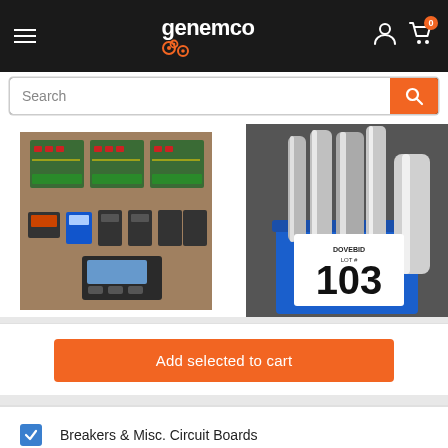genemco — navigation header with hamburger menu, logo, user icon, cart icon (0 items)
Search
[Figure (photo): Circuit boards and electrical breakers/contactors laid out on a table — three green PCBs at top, various circuit breakers and modules below, and a control panel/display unit at bottom]
[Figure (photo): Blue bucket containing metallic cylindrical rolls/tubes with a DoveBid Lot #103 tag attached]
Add selected to cart
Breakers & Misc. Circuit Boards